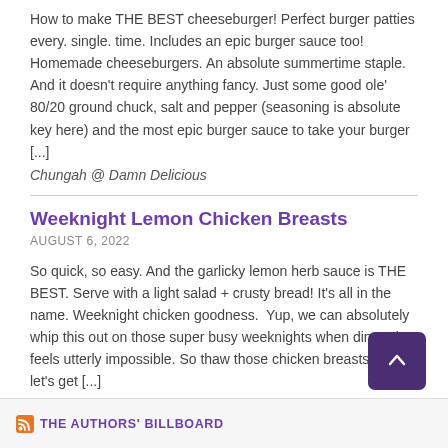How to make THE BEST cheeseburger! Perfect burger patties every. single. time. Includes an epic burger sauce too! Homemade cheeseburgers. An absolute summertime staple. And it doesn't require anything fancy. Just some good ole' 80/20 ground chuck, salt and pepper (seasoning is absolute key here) and the most epic burger sauce to take your burger [...]
Chungah @ Damn Delicious
Weeknight Lemon Chicken Breasts
AUGUST 6, 2022
So quick, so easy. And the garlicky lemon herb sauce is THE BEST. Serve with a light salad + crusty bread! It's all in the name. Weeknight chicken goodness.  Yup, we can absolutely whip this out on those super busy weeknights when dinner just feels utterly impossible. So thaw those chicken breasts and let's get [...]
Chungah @ Damn Delicious
THE AUTHORS' BILLBOARD